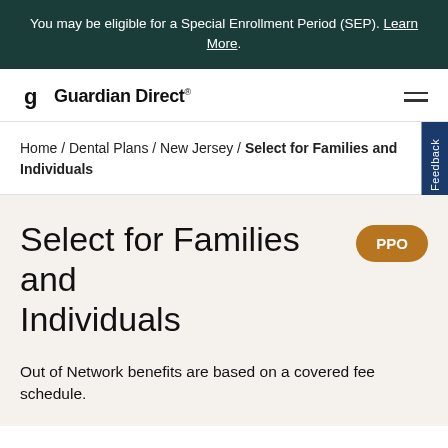You may be eligible for a Special Enrollment Period (SEP). Learn More.
[Figure (logo): Guardian Direct logo with stylized G icon]
Home / Dental Plans / New Jersey / Select for Families and Individuals
Select for Families and Individuals
PPO
Out of Network benefits are based on a covered fee schedule.